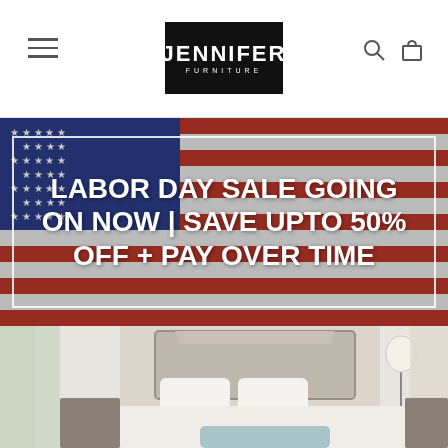[Figure (logo): Jennifer Furniture logo - white text on black background, navigation header with hamburger menu icon on left, search and cart icons on right]
[Figure (infographic): American flag background with white bordered text box containing promotional text: LABOR DAY SALE GOING ON NOW | SAVE UPTO 50% OFF + PAY OVER TIME]
[Figure (photo): Bedroom photo showing an upholstered headboard bed with white bedding and light blue throw, floor lamp, curtains in background]